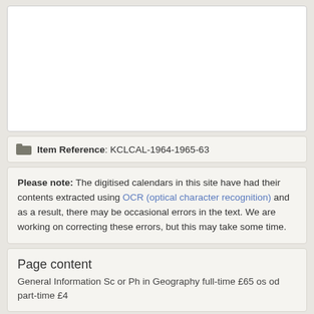[Figure (other): White blank image area, representing a digitised calendar page preview]
Item Reference: KCLCAL-1964-1965-63
Please note: The digitised calendars in this site have had their contents extracted using OCR (optical character recognition) and as a result, there may be occasional errors in the text. We are working on correcting these errors, but this may take some time.
Page content
General Information Sc or Ph in Geography full-time £65 os od part-time £4